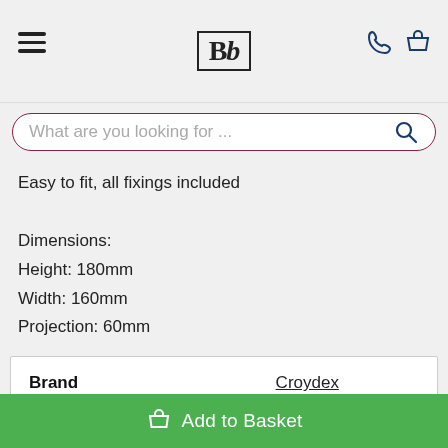Bb logo, hamburger menu, phone and basket icons
What are you looking for ...
Easy to fit, all fixings included

Dimensions:
Height: 180mm
Width: 160mm
Projection: 60mm
|  |  |
| --- | --- |
| Brand | Croydex |
| Accessory Type | Towel Ring |
| Part Number | QM201541 |
Add to Basket